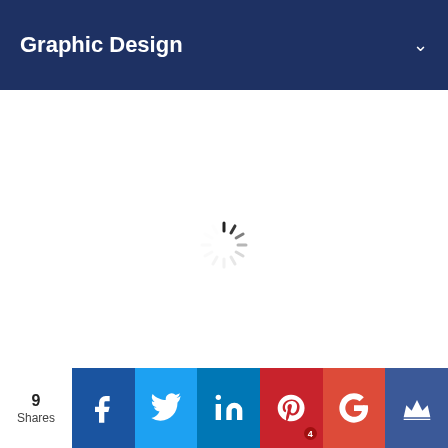Graphic Design
[Figure (other): Loading spinner (animated circular spinner with spokes fading from black to light gray) centered on a white background]
9 Shares
[Figure (infographic): Social share buttons row: Facebook (blue, f icon), Twitter (light blue, bird icon), LinkedIn (dark blue, in icon), Pinterest (red, P icon with badge '4'), Google+ (red-orange, G+ icon), Crown/other (dark blue, crown icon)]